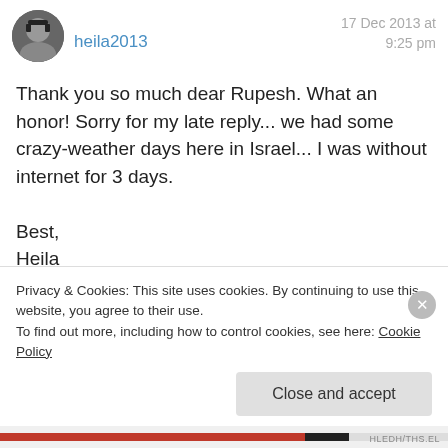heila2013 — 17 Dec 2013 at 9:25 pm
Thank you so much dear Rupesh. What an honor! Sorry for my late reply... we had some crazy-weather days here in Israel... I was without internet for 3 days.
Best,
Heila
★ Like
Privacy & Cookies: This site uses cookies. By continuing to use this website, you agree to their use.
To find out more, including how to control cookies, see here: Cookie Policy
Close and accept